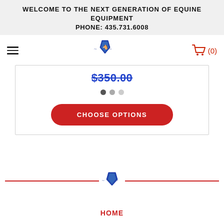WELCOME TO THE NEXT GENERATION OF EQUINE EQUIPMENT
PHONE: 435.731.6008
[Figure (logo): Shield-shaped logo with horse illustration, decorative swashes on either side]
$350.00
[Figure (infographic): Three dot carousel indicators: one dark, one medium, one light]
CHOOSE OPTIONS
[Figure (logo): Shield-shaped logo centered between two red horizontal divider lines]
HOME